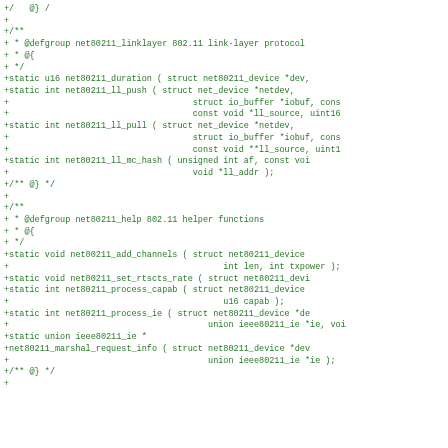Code diff showing C source additions for net80211 802.11 link-layer and helper function declarations